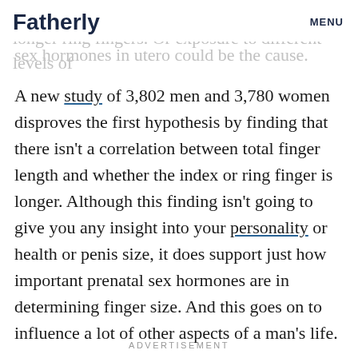Fatherly   MENU
(usually be men) are more likely to have longer ring fingers. Or exposure to different levels of sex hormones in utero could be the cause.
A new study of 3,802 men and 3,780 women disproves the first hypothesis by finding that there isn't a correlation between total finger length and whether the index or ring finger is longer. Although this finding isn't going to give you any insight into your personality or health or penis size, it does support just how important prenatal sex hormones are in determining finger size. And this goes on to influence a lot of other aspects of a man's life.
ADVERTISEMENT